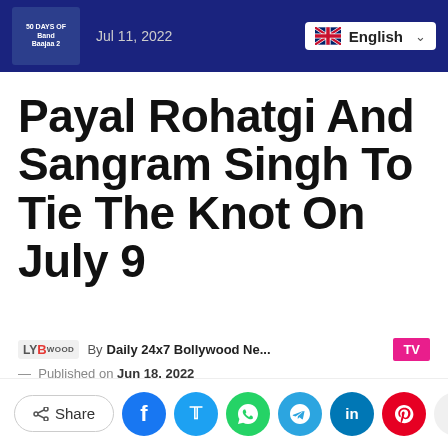50 Days Of Band Baajaa 2 | Jul 11, 2022 | English
Payal Rohatgi And Sangram Singh To Tie The Knot On July 9
By Daily 24x7 Bollywood Ne... — Published on Jun 18, 2022
TV, Television Entertainment | Payal Rohatgi, Sangram Singh, Actor, Actress, Mumbai
Share